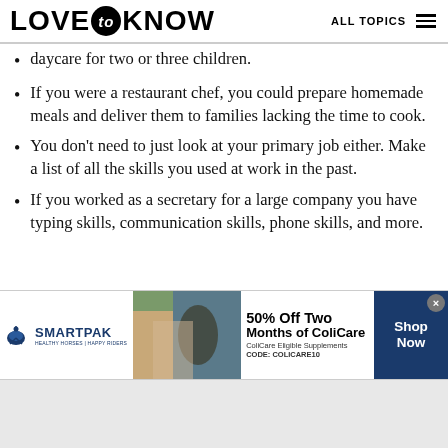LOVE to KNOW | ALL TOPICS
daycare for two or three children.
If you were a restaurant chef, you could prepare homemade meals and deliver them to families lacking the time to cook.
You don't need to just look at your primary job either. Make a list of all the skills you used at work in the past.
If you worked as a secretary for a large company you have typing skills, communication skills, phone skills, and more.
[Figure (screenshot): SmartPak advertisement banner: 50% Off Two Months of ColiCare, ColiCare Eligible Supplements, CODE: COLICARE10, Shop Now button]